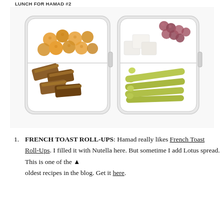LUNCH FOR HAMAD #2
[Figure (photo): Two white plastic bento-style lunch boxes viewed from above on a white background. Left box has two compartments: top with golden round puffed snacks, bottom with sliced French toast roll-ups. Right box has two compartments: top with white cheese cubes and red grapes, bottom with pickled baby corn spears.]
FRENCH TOAST ROLL-UPS: Hamad really likes French Toast Roll-Ups. I filled it with Nutella here. But sometime I add Lotus spread. This is one of the oldest recipes in the blog. Get it here.